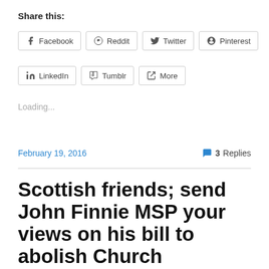Share this:
Facebook  Reddit  Twitter  Pinterest
LinkedIn  Tumblr  More
Loading...
February 19, 2016   3 Replies
Scottish friends; send John Finnie MSP your views on his bill to abolish Church appointees on Council education Committees